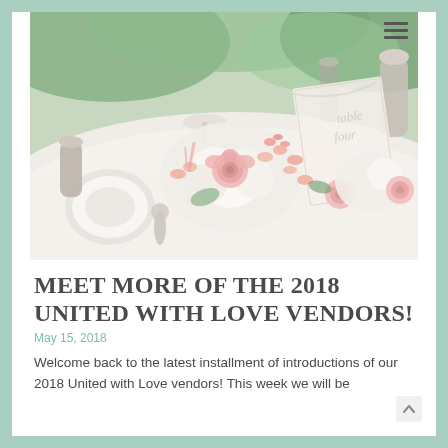[Figure (photo): Wedding table centerpiece with pink and white roses, hydrangeas, and pink flowers on a white tablecloth with silverware and glassware. Outdoor garden setting.]
MEET MORE OF THE 2018 UNITED WITH LOVE VENDORS!
May 15, 2018
Welcome back to the latest installment of introductions of our 2018 United with Love vendors! This week we will be